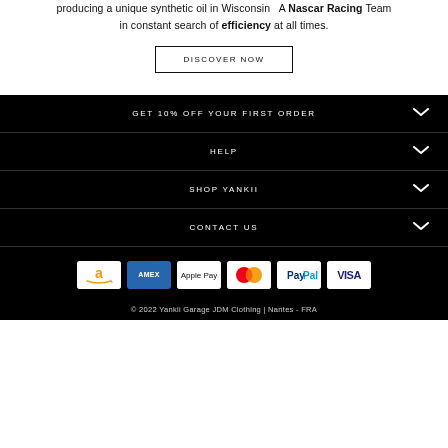producing a unique synthetic oil in Wisconsin   A Nascar Racing Team in constant search of efficiency at all times.
DISCOVER NOW
GET 10% OFF YOUR FIRST ORDER
HELP
SHOP YANKII
CONTACT US
[Figure (other): Payment method icons: Amazon, American Express, Apple Pay, Mastercard, PayPal, Visa]
© 2022 Yankii Garage JDM Clothing | Nantes - FRA